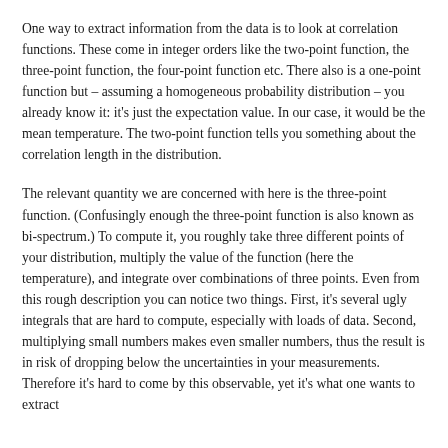One way to extract information from the data is to look at correlation functions. These come in integer orders like the two-point function, the three-point function, the four-point function etc. There also is a one-point function but – assuming a homogeneous probability distribution – you already know it: it's just the expectation value. In our case, it would be the mean temperature. The two-point function tells you something about the correlation length in the distribution.
The relevant quantity we are concerned with here is the three-point function. (Confusingly enough the three-point function is also known as bi-spectrum.) To compute it, you roughly take three different points of your distribution, multiply the value of the function (here the temperature), and integrate over combinations of three points. Even from this rough description you can notice two things. First, it's several ugly integrals that are hard to compute, especially with loads of data. Second, multiplying small numbers makes even smaller numbers, thus the result is in risk of dropping below the uncertainties in your measurements. Therefore it's hard to come by this observable, yet it's what one wants to extract